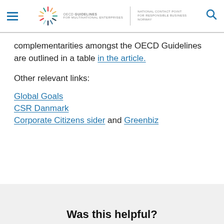OECD Guidelines for Multinational Enterprises | National Contact Point for Responsible Business Norway
complementarities amongst the OECD Guidelines are outlined in a table in the article.
Other relevant links:
Global Goals
CSR Danmark
Corporate Citizens sider and Greenbiz
Was this helpful?